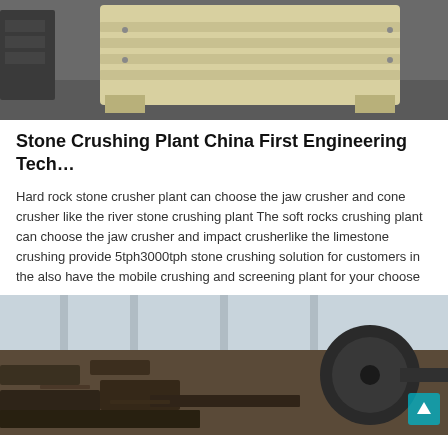[Figure (photo): A large yellow/cream colored jaw crusher machine sitting on a factory floor with grey concrete ground.]
Stone Crushing Plant China First Engineering Tech…
Hard rock stone crusher plant can choose the jaw crusher and cone crusher like the river stone crushing plant The soft rocks crushing plant can choose the jaw crusher and impact crusherlike the limestone crushing provide 5tph3000tph stone crushing solution for customers in the also have the mobile crushing and screening plant for your choose
[Figure (photo): Industrial stone crushing plant machinery — heavy metal rollers, conveyors, and crushing equipment in a large factory warehouse with steel structures visible in the background.]